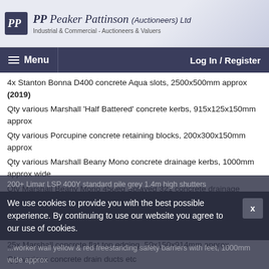PP Peaker Pattinson (Auctioneers) Ltd – Industrial & Commercial - Auctioneers & Valuers
Menu | Log In / Register
4x Stanton Bonna D400 concrete Aqua slots, 2500x500mm approx (2019)
Qty various Marshall 'Half Battered' concrete kerbs, 915x125x150mm approx
Qty various Porcupine concrete retaining blocks, 200x300x150mm approx
Qty various Marshall Beany Mono concrete drainage kerbs, 1000mm approx wide
Qty Marshall Beany Mono 45deg Splayed 321 concrete drainage kerbs, 1000mm approx wide
Qty Marshall Beany Mono metal drainage kerbs on 2 pallets
Qty PDS Envirodeck composite drainage kerbs on 2 pallets
25x Marshall concrete flat top edging, 50x150x914mm approx
Qty various concrete drain ducts etc
200+ Limar LSP 400Y standard pile grey 1.4m high shutters
We use cookies to provide you with the best possible experience. By continuing to use our website you agree to our use of cookies.
...worker wall yellow & red freestanding safety barriers with feet, 1000mm wide approx